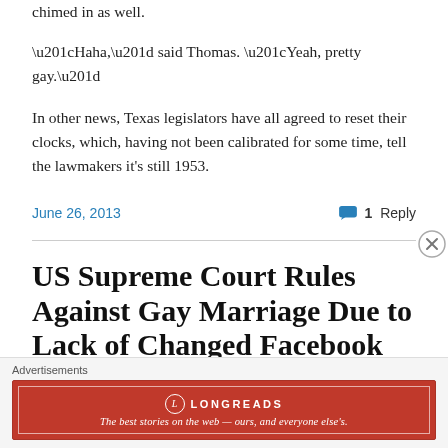chimed in as well.
“Haha,” said Thomas. “Yeah, pretty gay.”
In other news, Texas legislators have all agreed to reset their clocks, which, having not been calibrated for some time, tell the lawmakers it’s still 1953.
June 26, 2013
1 Reply
US Supreme Court Rules Against Gay Marriage Due to Lack of Changed Facebook
[Figure (other): Longreads advertisement banner: red background with white Longreads logo and text 'The best stories on the web — ours, and everyone else’s.']